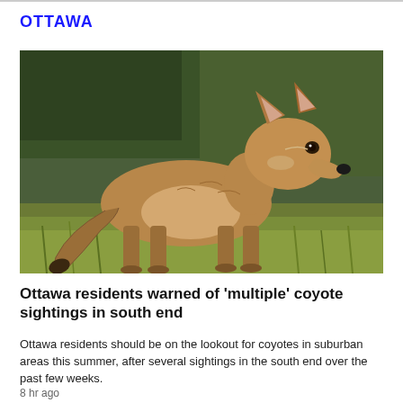OTTAWA
[Figure (photo): A coyote standing in a grassy area with green foliage in the background, looking toward the camera over its shoulder.]
Ottawa residents warned of 'multiple' coyote sightings in south end
Ottawa residents should be on the lookout for coyotes in suburban areas this summer, after several sightings in the south end over the past few weeks.
8 hr ago